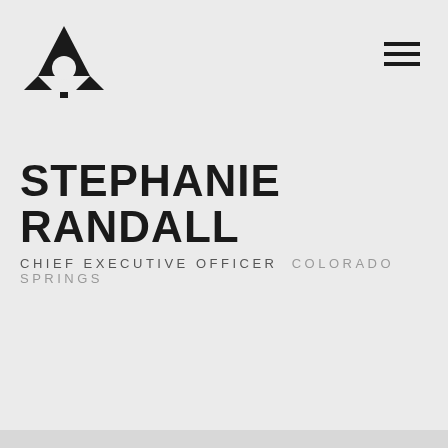[Figure (logo): Black stylized logo consisting of triangular mountain/arrow shapes with a small square beneath, resembling a hot air balloon or abstract mountain peak icon]
[Figure (other): Hamburger menu icon with three horizontal black lines]
STEPHANIE RANDALL
CHIEF EXECUTIVE OFFICER  COLORADO SPRINGS